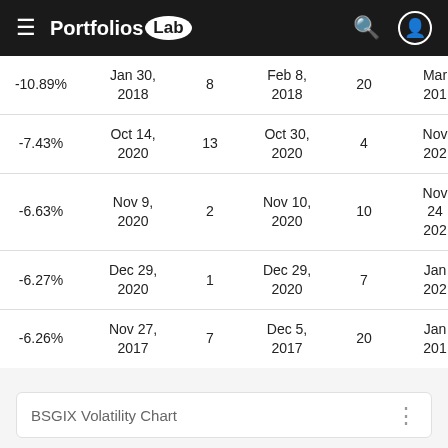Portfolios Lab
|  | Start Date | Days | End Date | Days | End |
| --- | --- | --- | --- | --- | --- |
| -10.89% | Jan 30, 2018 | 8 | Feb 8, 2018 | 20 | Mar 201 |
| -7.43% | Oct 14, 2020 | 13 | Oct 30, 2020 | 4 | Nov 202 |
| -6.63% | Nov 9, 2020 | 2 | Nov 10, 2020 | 10 | Nov 24 202 |
| -6.27% | Dec 29, 2020 | 1 | Dec 29, 2020 | 7 | Jan 202 |
| -6.26% | Nov 27, 2017 | 7 | Dec 5, 2017 | 20 | Jan 201 |
BSGIX Volatility Chart